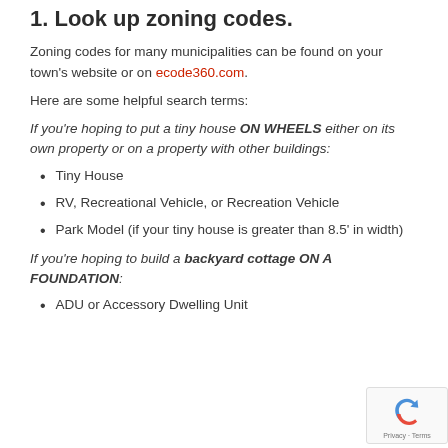1. Look up zoning codes.
Zoning codes for many municipalities can be found on your town's website or on ecode360.com.
Here are some helpful search terms:
If you're hoping to put a tiny house ON WHEELS either on its own property or on a property with other buildings:
Tiny House
RV, Recreational Vehicle, or Recreation Vehicle
Park Model (if your tiny house is greater than 8.5' in width)
If you're hoping to build a backyard cottage ON A FOUNDATION:
ADU or Accessory Dwelling Unit